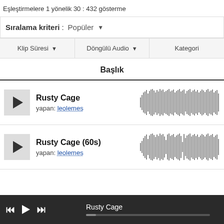Eşleştirmelere 1 yönelik 30 : 432 gösterme
Sıralama kriteri : Popüler
Klip Süresi | Döngülü Audio | Kategori
Başlık
Rusty Cage
yapan: leolemes
[Figure (other): Audio waveform for Rusty Cage track]
Rusty Cage (60s)
yapan: leolemes
[Figure (other): Audio waveform for Rusty Cage (60s) track]
Rusty Cage